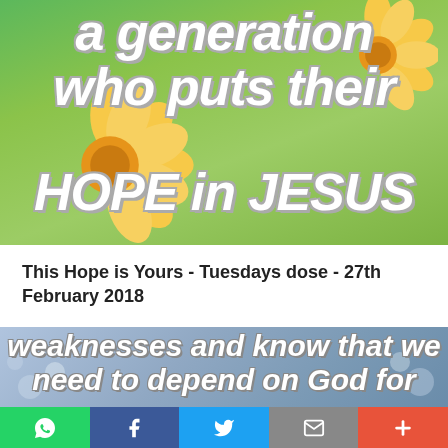[Figure (illustration): Inspirational image with yellow flowers on green background, white bold italic text overlay reading 'a generation who puts their HOPE in JESUS']
This Hope is Yours - Tuesdays dose - 27th February 2018
[Figure (illustration): Inspirational image with winter/spring blossoms on blue-grey background, white bold italic text reading 'weaknesses and know that we need to depend on God for']
[Figure (infographic): Social sharing bar with WhatsApp, Facebook, Twitter, Email, and More buttons]